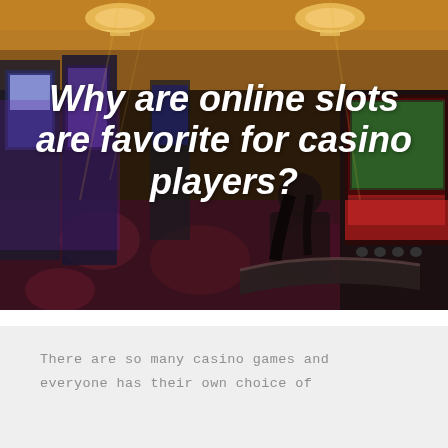[Figure (photo): Interior of a casino with rows of slot machines lit in warm golden and purple lights, ornate patterned carpet, chandeliers hanging from the ceiling. A person is seated at a curved slot machine console on the right. Large white italic bold text overlaid reads: 'Why are online slots are favorite for casino players?']
Why are online slots are favorite for casino players?
There are so many casino games and everyone has their own choice of